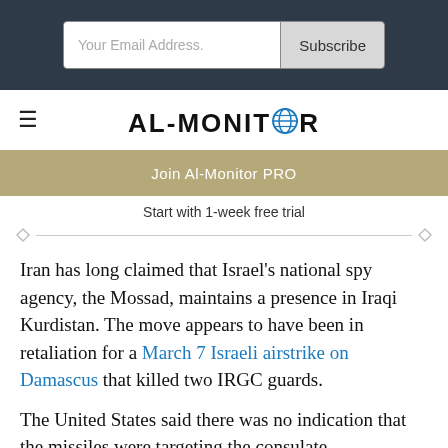Your Email Address. | Subscribe
AL-MONITOR
Join Al-Monitor PRO
Start with 1-week free trial
Iran has long claimed that Israel's national spy agency, the Mossad, maintains a presence in Iraqi Kurdistan. The move appears to have been in retaliation for a March 7 Israeli airstrike on Damascus that killed two IRGC guards.
The United States said there was no indication that the missiles were targeting the consulate